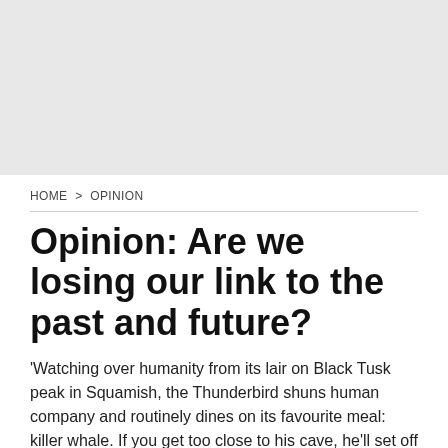[Figure (other): Light grey placeholder image area at top of page]
HOME > OPINION
Opinion: Are we losing our link to the past and future?
'Watching over humanity from its lair on Black Tusk peak in Squamish, the Thunderbird shuns human company and routinely dines on its favourite meal: killer whale. If you get too close to his cave, he'll set off a snowy avalanche, but if